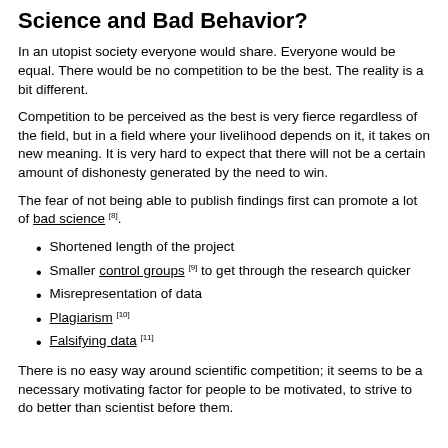Science and Bad Behavior?
In an utopist society everyone would share. Everyone would be equal. There would be no competition to be the best. The reality is a bit different.
Competition to be perceived as the best is very fierce regardless of the field, but in a field where your livelihood depends on it, it takes on new meaning. It is very hard to expect that there will not be a certain amount of dishonesty generated by the need to win.
The fear of not being able to publish findings first can promote a lot of bad science [8].
Shortened length of the project
Smaller control groups [9] to get through the research quicker
Misrepresentation of data
Plagiarism [10]
Falsifying data [11]
There is no easy way around scientific competition; it seems to be a necessary motivating factor for people to be motivated, to strive to do better than scientist before them.